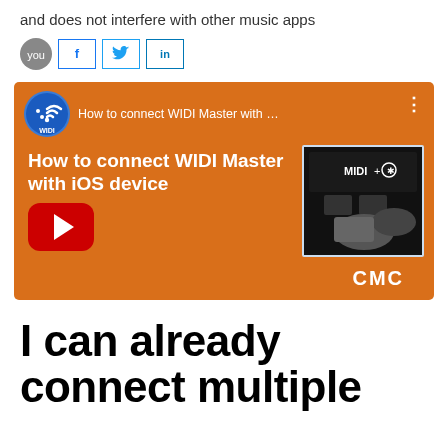and does not interfere with other music apps
[Figure (screenshot): Social sharing bar with YouTube icon, Facebook (f), Twitter (bird), and LinkedIn (in) buttons]
[Figure (screenshot): YouTube video thumbnail for 'How to connect WIDI Master with iOS device' by CME, showing orange background with WIDI logo, play button, and MIDI product image]
I can already connect multiple